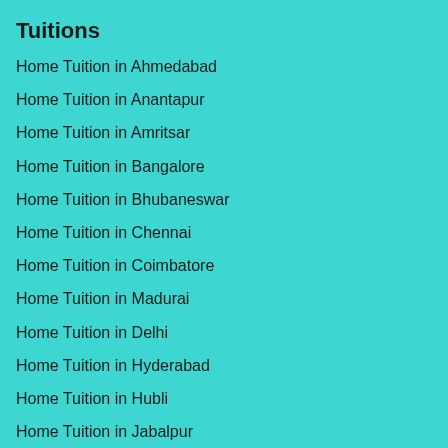Tuitions
Home Tuition in Ahmedabad
Home Tuition in Anantapur
Home Tuition in Amritsar
Home Tuition in Bangalore
Home Tuition in Bhubaneswar
Home Tuition in Chennai
Home Tuition in Coimbatore
Home Tuition in Madurai
Home Tuition in Delhi
Home Tuition in Hyderabad
Home Tuition in Hubli
Home Tuition in Jabalpur
Home Tuition in Kochi
Home Tuition in Kolkata
Home Tuition in Mangalore